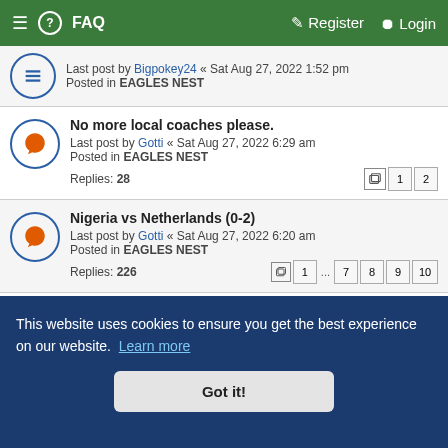≡  ? FAQ    Register  Login
Last post by Bigpokey24 « Sat Aug 27, 2022 1:52 pm
Posted in EAGLES NEST
No more local coaches please.
Last post by Gotti « Sat Aug 27, 2022 6:29 am
Posted in EAGLES NEST
Replies: 28
Nigeria vs Netherlands (0-2)
Last post by Gotti « Sat Aug 27, 2022 6:20 am
Posted in EAGLES NEST
Replies: 226
Okoye
Last post by danfo driver « Sat Aug 27, 2022 3:42 am
This website uses cookies to ensure you get the best experience on our website. Learn more
Got it!
Last post by Odas « Sat Aug 27, 2022 12:13 am
Posted in EAGLES NEST